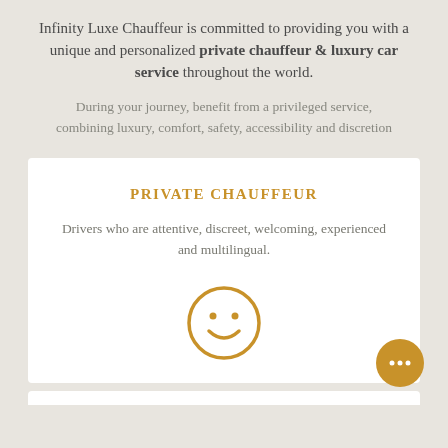Infinity Luxe Chauffeur is committed to providing you with a unique and personalized private chauffeur & luxury car service throughout the world.
During your journey, benefit from a privileged service, combining luxury, comfort, safety, accessibility and discretion
PRIVATE CHAUFFEUR
Drivers who are attentive, discreet, welcoming, experienced and multilingual.
[Figure (illustration): Smiley face icon in gold/brown color, circle with two dots for eyes and a curved smile]